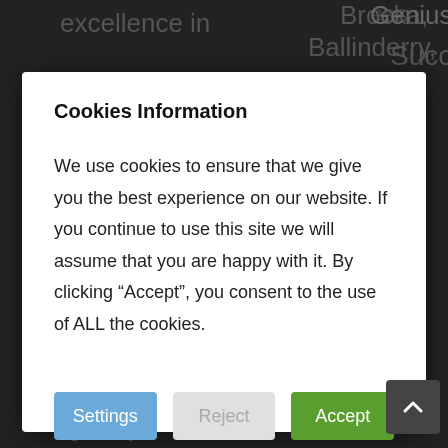Cookies Information
We use cookies to ensure that we give you the best experience on our website. If you continue to use this site we will assume that you are happy with it. By clicking “Accept”, you consent to the use of ALL the cookies.
Settings | Reject | Accept